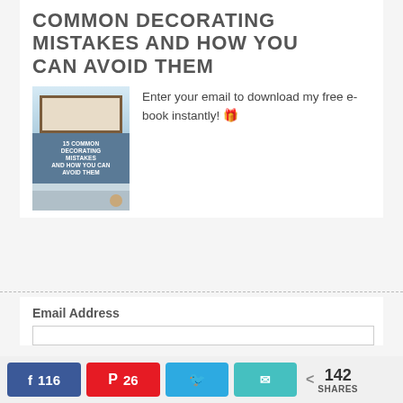COMMON DECORATING MISTAKES AND HOW YOU CAN AVOID THEM
[Figure (illustration): E-book cover for '15 Common Decorating Mistakes and How You Can Avoid Them' with coastal/interior decor imagery]
Enter your email to download my free e-book instantly! 🎁
Email Address
116  26  142 SHARES